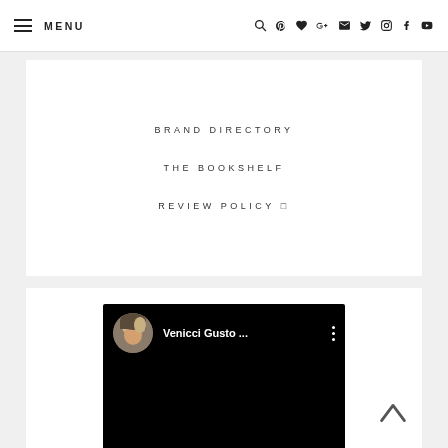MENU — navigation icons
BRAND DIRECTORY
THE BOOKSHELF
REVIEW POLICY 🗔
[Figure (screenshot): YouTube video thumbnail showing a woman with blonde hair in a circular avatar, video title 'Venicci Gusto ...' with three-dot menu icon, on a black background]